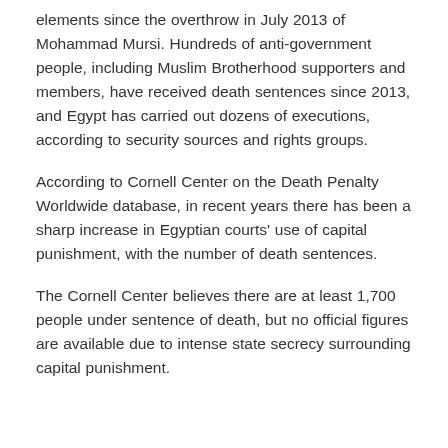elements since the overthrow in July 2013 of Mohammad Mursi. Hundreds of anti-government people, including Muslim Brotherhood supporters and members, have received death sentences since 2013, and Egypt has carried out dozens of executions, according to security sources and rights groups.
According to Cornell Center on the Death Penalty Worldwide database, in recent years there has been a sharp increase in Egyptian courts' use of capital punishment, with the number of death sentences.
The Cornell Center believes there are at least 1,700 people under sentence of death, but no official figures are available due to intense state secrecy surrounding capital punishment.